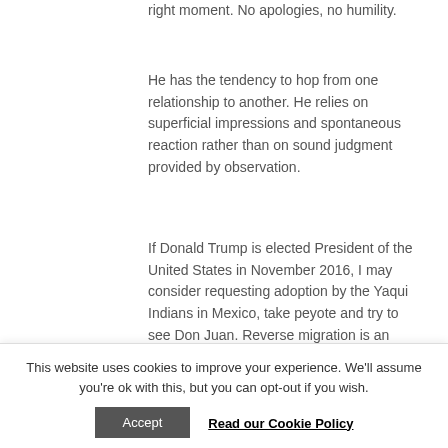right moment. No apologies, no humility.
He has the tendency to hop from one relationship to another. He relies on superficial impressions and spontaneous reaction rather than on sound judgment provided by observation.
If Donald Trump is elected President of the United States in November 2016, I may consider requesting adoption by the Yaqui Indians in Mexico, take peyote and try to see Don Juan. Reverse migration is an
This website uses cookies to improve your experience. We'll assume you're ok with this, but you can opt-out if you wish.
Accept
Read our Cookie Policy